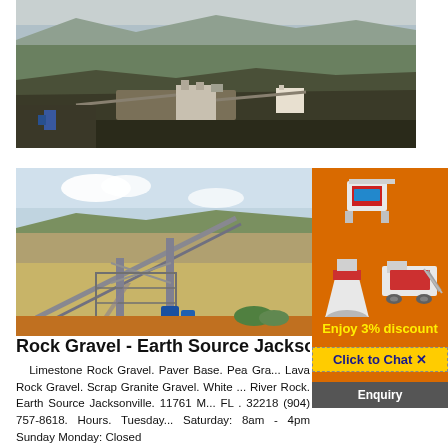[Figure (photo): Aerial view of a rock quarry/mining site with industrial machinery and green landscape in background]
[Figure (photo): Industrial conveyor belt and metal frame structure at a gravel/rock processing facility]
[Figure (illustration): Orange advertisement panel showing mining/crushing equipment images with discount offer, chat button, and enquiry button]
Rock Gravel - Earth Source Jacksonvi...
Limestone Rock Gravel. Paver Base. Pea Gra... Lava Rock Gravel. Scrap Granite Gravel. White ... River Rock. Earth Source Jacksonville. 11761 M... FL . 32218 (904) 757-8618. Hours. Tuesday... Saturday: 8am - 4pm Sunday Monday: Closed